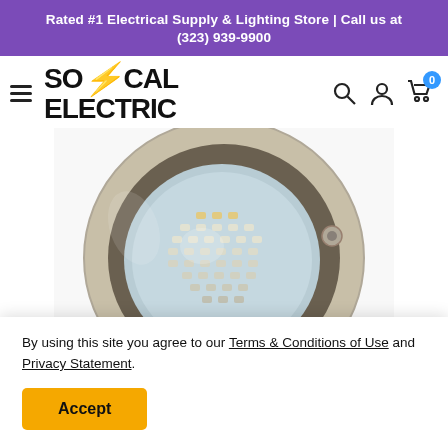Rated #1 Electrical Supply & Lighting Store | Call us at (323) 939-9900
[Figure (logo): SoCal Electric logo with lightning bolt, hamburger menu, search icon, user icon, and cart icon with badge 0]
[Figure (photo): Close-up of a round stainless steel in-ground LED light fixture with glass lens showing LED array]
By using this site you agree to our Terms & Conditions of Use and Privacy Statement.
Accept